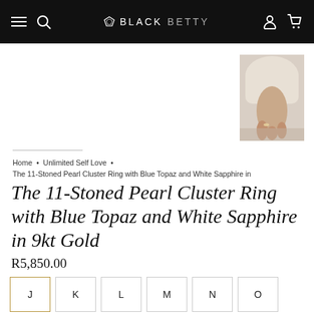BLACK BETTY
[Figure (photo): Close-up photo of a person's hand/wrist wearing jewelry, wearing a light cream/beige outfit, resting on a surface]
Home • Unlimited Self Love • The 11-Stoned Pearl Cluster Ring with Blue Topaz and White Sapphire in
The 11-Stoned Pearl Cluster Ring with Blue Topaz and White Sapphire in 9kt Gold
R5,850.00
J
K
L
M
N
O